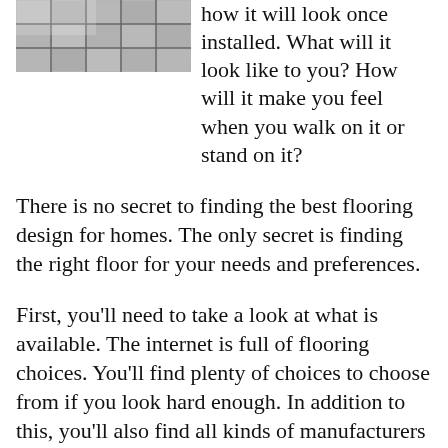[Figure (photo): Photo of flooring/tile installation, grey tiled floor with construction materials visible]
how it will look once installed. What will it look like to you? How will it make you feel when you walk on it or stand on it?
There is no secret to finding the best flooring design for homes. The only secret is finding the right floor for your needs and preferences.
First, you'll need to take a look at what is available. The internet is full of flooring choices. You'll find plenty of choices to choose from if you look hard enough. In addition to this, you'll also find all kinds of manufacturers and flooring brands that make a good selection of styles. You can find the perfect flooring for